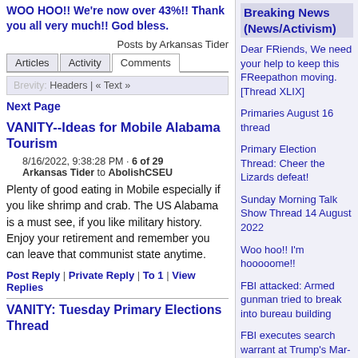WOO HOO!! We're now over 43%!! Thank you all very much!! God bless.
Posts by Arkansas Tider
Articles | Activity | Comments
Brevity: Headers | « Text »
Next Page
VANITY--Ideas for Mobile Alabama Tourism
8/16/2022, 9:38:28 PM · 6 of 29
Arkansas Tider to AbolishCSEU
Plenty of good eating in Mobile especially if you like shrimp and crab. The US Alabama is a must see, if you like military history. Enjoy your retirement and remember you can leave that communist state anytime.
Post Reply | Private Reply | To 1 | View Replies
VANITY: Tuesday Primary Elections Thread
Breaking News (News/Activism)
Dear FRiends, We need your help to keep this FReepathon moving. [Thread XLIX]
Primaries August 16 thread
Primary Election Thread: Cheer the Lizards defeat!
Sunday Morning Talk Show Thread 14 August 2022
Woo hoo!! I'm hooooome!!
FBI attacked: Armed gunman tried to break into bureau building
FBI executes search warrant at Trump's Mar-a-Lago